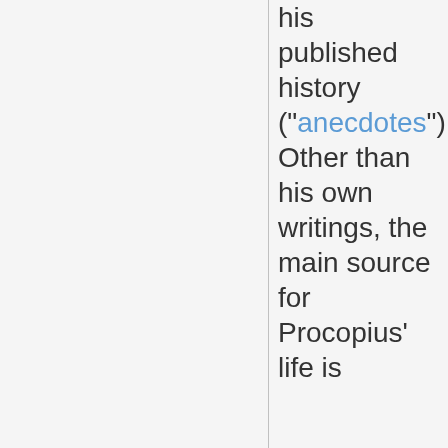his published history ("anecdotes"). Other than his own writings, the main source for Procopius' life is